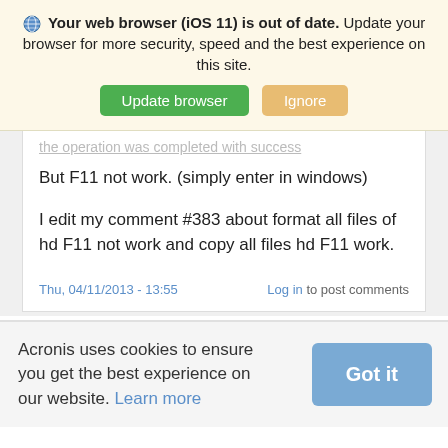Your web browser (iOS 11) is out of date. Update your browser for more security, speed and the best experience on this site.
Update browser | Ignore
the operation was completed with success
But F11 not work. (simply enter in windows)
I edit my comment #383 about format all files of hd F11 not work and copy all files hd F11 work.
Thu, 04/11/2013 - 13:55
Log in to post comments
Acronis uses cookies to ensure you get the best experience on our website. Learn more
Got it